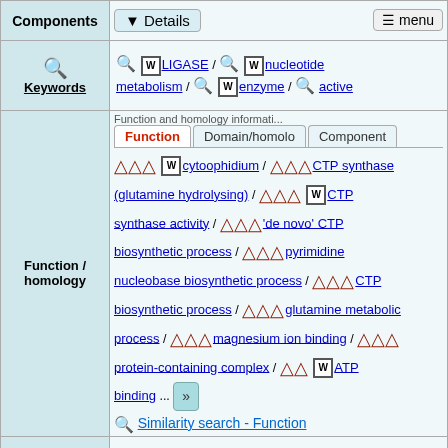| Category | Content |
| --- | --- |
| Components | Details / menu |
| Keywords | LIGASE / nucleotide metabolism / enzyme / active |
| Function / homology | Function | Domain/homolo | Component tabs; cytoophidium / CTP synthase (glutamine hydrolysing) / CTP synthase activity / 'de novo' CTP biosynthetic process / pyrimidine nucleobase biosynthetic process / CTP biosynthetic process / glutamine metabolic process / magnesium ion binding / protein-containing complex / ATP binding ... >> Similarity search - Function |
| Biological species | Escherichia coli (E. coli) |
| Method | ELECTRON MICROSCOPY / single particle reconstruction / cryo EM |